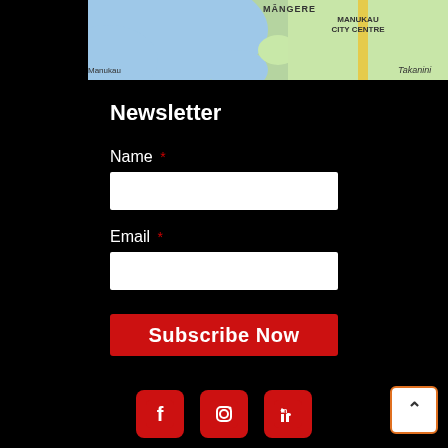[Figure (map): Google Maps snippet showing Māngere, Manukau City Centre, Manukau, and Takanini locations in Auckland, New Zealand]
Newsletter
Name *
Email *
Subscribe Now
[Figure (other): Social media icons row: Facebook, Instagram, LinkedIn in red rounded square buttons, plus a scroll-to-top button]